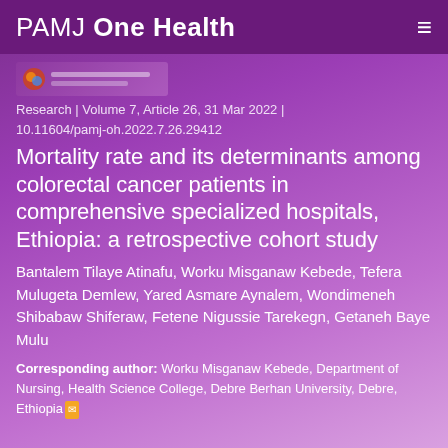PAMJ One Health
[Figure (logo): Small OneHealth logo thumbnail with colored icon and text lines]
Research | Volume 7, Article 26, 31 Mar 2022 | 10.11604/pamj-oh.2022.7.26.29412
Mortality rate and its determinants among colorectal cancer patients in comprehensive specialized hospitals, Ethiopia: a retrospective cohort study
Bantalem Tilaye Atinafu, Worku Misganaw Kebede, Tefera Mulugeta Demlew, Yared Asmare Aynalem, Wondimeneh Shibabaw Shiferaw, Fetene Nigussie Tarekegn, Getaneh Baye Mulu
Corresponding author: Worku Misganaw Kebede, Department of Nursing, Health Science College, Debre Berhan University, Debre, Ethiopia